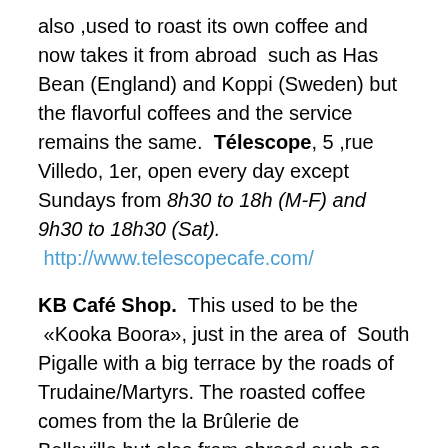also ,used to roast its own coffee and now takes it from abroad such as Has Bean (England) and Koppi (Sweden) but the flavorful coffees and the service remains the same. Télescope, 5 ,rue Villedo, 1er, open every day except Sundays from 8h30 to 18h (M-F) and 9h30 to 18h30 (Sat). http://www.telescopecafe.com/
KB Café Shop. This used to be the «Kooka Boora», just in the area of South Pigalle with a big terrace by the roads of Trudaine/Martyrs. The roasted coffee comes from the la Brûlerie de Belleville,but also from abroad such as Square Mile (England). Also, serving Scones, granola ,and fruit juice. 53, avenue Trudaine and 62, rue des Martyrs ( 9e). Tél. +33 01 56 92 12 41. open every day from 7h30 to 18h30 ( from 9h to 18h30 on the weekends).
Some others, La Caféothéque, 52, rue de l'Hôtel de Ville,